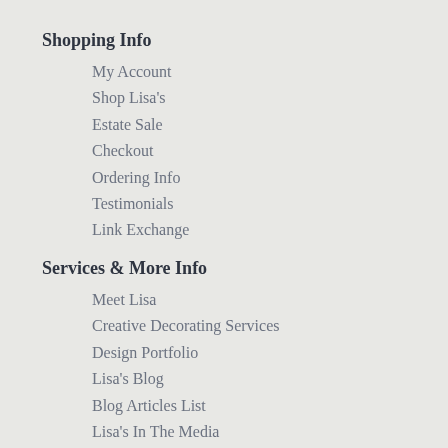Shopping Info
My Account
Shop Lisa's
Estate Sale
Checkout
Ordering Info
Testimonials
Link Exchange
Services & More Info
Meet Lisa
Creative Decorating Services
Design Portfolio
Lisa's Blog
Blog Articles List
Lisa's In The Media
Before and After
Travel & Sightseeing